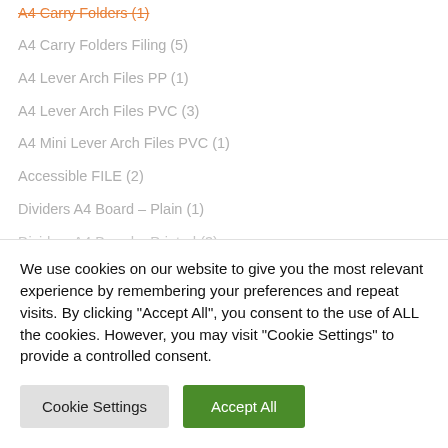A4 Carry Folders (1)
A4 Carry Folders Filing (5)
A4 Lever Arch Files PP (1)
A4 Lever Arch Files PVC (3)
A4 Mini Lever Arch Files PVC (1)
Accessible FILE (2)
Dividers A4 Board – Plain (1)
Dividers A4 Board – Printed (3)
Dividers A4 PVC – Plain (2)
We use cookies on our website to give you the most relevant experience by remembering your preferences and repeat visits. By clicking "Accept All", you consent to the use of ALL the cookies. However, you may visit "Cookie Settings" to provide a controlled consent.